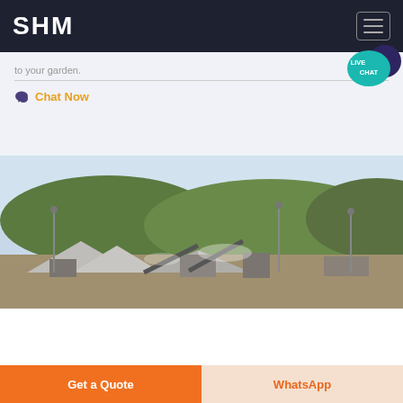SHM
to your garden.
Chat Now
[Figure (photo): Aerial view of a large mining/quarry facility with conveyor belts, gravel piles, machinery, tall lighting poles, and forested hills in the background under a clear sky.]
Get a Quote
WhatsApp